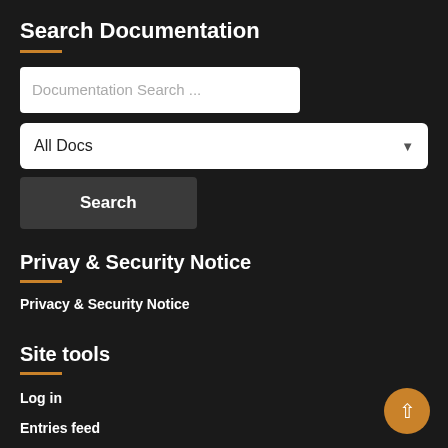Search Documentation
Documentation Search ...
All Docs
Search
Privay & Security Notice
Privacy & Security Notice
Site tools
Log in
Entries feed